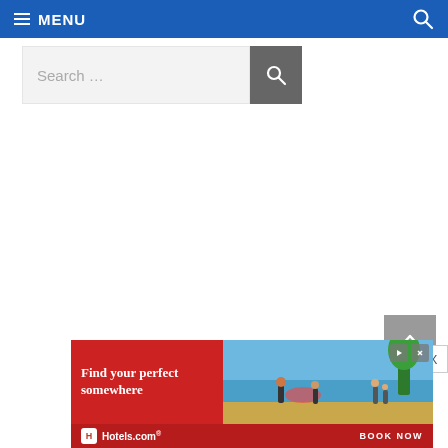MENU
Search ...
[Figure (screenshot): Back to top arrow button (grey square with upward chevron)]
[Figure (screenshot): Hotels.com advertisement banner: 'Find your perfect somewhere' with beach photo, Hotels.com logo and BOOK NOW button]